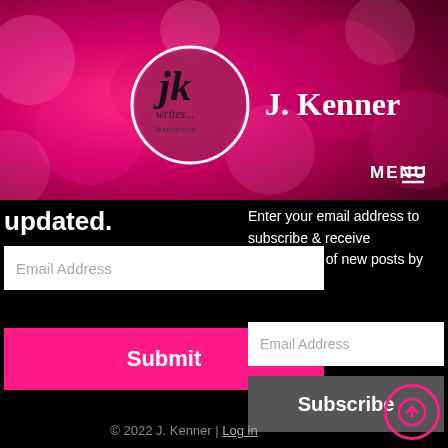[Figure (logo): J. Kenner website header with pink bokeh background, circular JK writes logo, site title 'J. Kenner', and MENU navigation]
updated.
Email Address
Submit
Enter your email address to subscribe & receive notifications of new posts by email.
Email Address
Subscribe
© 2022 J. Kenner | Log in